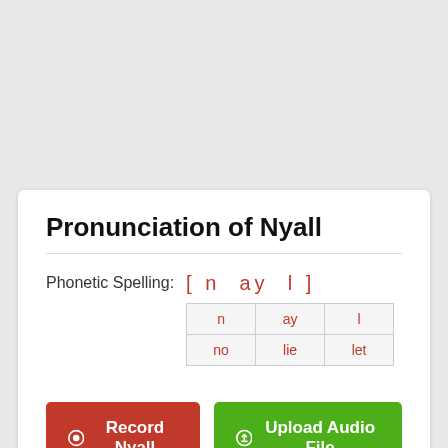Pronunciation of Nyall
Phonetic Spelling: [ n ay l ]
| n | ay | l |
| --- | --- | --- |
| no | lie | let |
Record Nyall
Upload Audio File